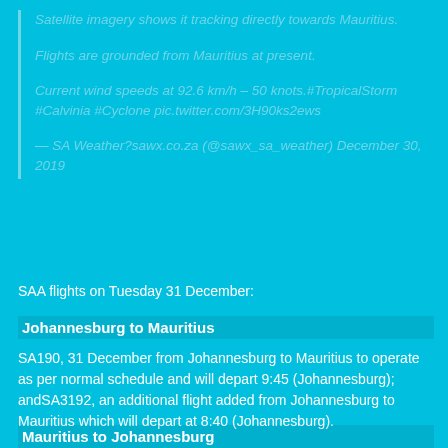Satellite imagery shows it tracking directly towards Mauritius.
Flights are grounded from Mauritius at present.
Current wind speeds at 92.6 km/h – 50 knots.#TropicalStorm #Calvinia #Cyclone pic.twitter.com/3H90ks2ews
— SA Weather?sawx.co.za (@sawx_sa_weather) December 30, 2019
SAA flights on Tuesday 31 December:
Johannesburg to Mauritius
SA190, 31 December from Johannesburg to Mauritius to operate as per normal schedule and will depart 9:45 (Johannesburg); andSA3192, an additional flight added from Johannesburg to Mauritius which will depart at 8:40 (Johannesburg).
Mauritius to Johannesburg